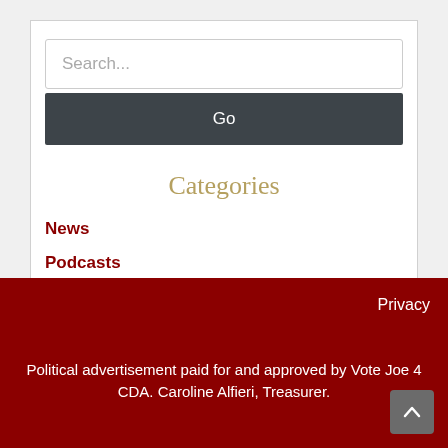Search...
Go
Categories
News
Podcasts
Privacy
Political advertisement paid for and approved by Vote Joe 4 CDA. Caroline Alfieri, Treasurer.